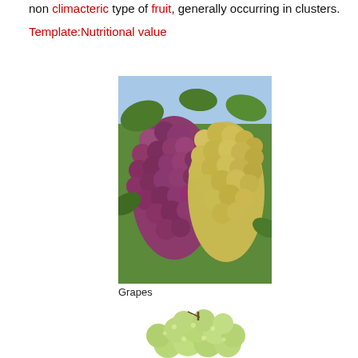non climacteric type of fruit, generally occurring in clusters.
Template:Nutritional value
[Figure (photo): Photograph of red and green grapes growing in clusters on a vine, outdoors with blue sky visible in background.]
Grapes
[Figure (photo): Photograph of a bunch of green/white grapes on a white background.]